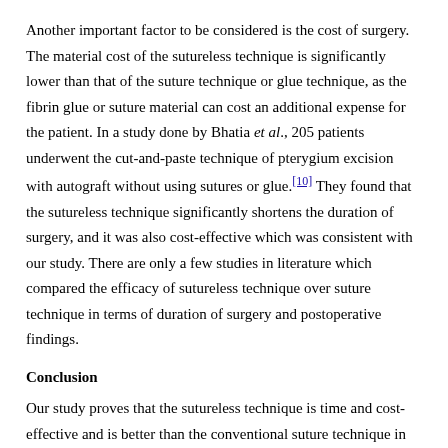Another important factor to be considered is the cost of surgery. The material cost of the sutureless technique is significantly lower than that of the suture technique or glue technique, as the fibrin glue or suture material can cost an additional expense for the patient. In a study done by Bhatia et al., 205 patients underwent the cut-and-paste technique of pterygium excision with autograft without using sutures or glue.[10] They found that the sutureless technique significantly shortens the duration of surgery, and it was also cost-effective which was consistent with our study. There are only a few studies in literature which compared the efficacy of sutureless technique over suture technique in terms of duration of surgery and postoperative findings.
Conclusion
Our study proves that the sutureless technique is time and cost-effective and is better than the conventional suture technique in terms of postoperative symptoms and signs. Thus, the sutureless technique helps in providing more patient comfort, which will allow them to quickly return to their normal life.
Financial support and sponsorship